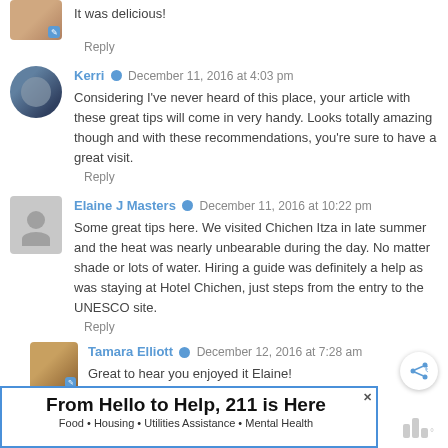It was delicious!
Reply
Kerri · December 11, 2016 at 4:03 pm
Considering I've never heard of this place, your article with these great tips will come in very handy. Looks totally amazing though and with these recommendations, you're sure to have a great visit.
Reply
Elaine J Masters · December 11, 2016 at 10:22 pm
Some great tips here. We visited Chichen Itza in late summer and the heat was nearly unbearable during the day. No matter shade or lots of water. Hiring a guide was definitely a help as was staying at Hotel Chichen, just steps from the entry to the UNESCO site.
Reply
Tamara Elliott · December 12, 2016 at 7:28 am
Great to hear you enjoyed it Elaine!
From Hello to Help, 211 is Here
Food · Housing · Utilities Assistance · Mental Health